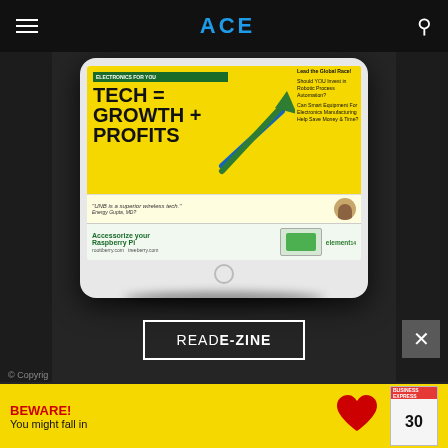ACE
[Figure (screenshot): Magazine cover displayed on a tablet/iPad frame showing 'TECH = GROWTH + PROFITS' headline with green arrow chart graphic on yellow background, plus a quote strip and bottom advertisement for Raspberry Pi accessories]
READ E-ZINE
© Copyright
[Figure (photo): Yellow banner advertisement with red 'BEWARE!' text, 'You might fall in' subtitle, red heart graphic, and Business Express magazine thumbnail on right]